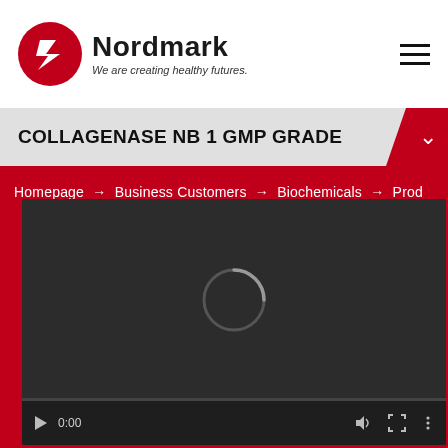[Figure (logo): Nordmark logo: red circle with white 'Z' arrow, company name 'Nordmark' in bold black, tagline 'We are creating healthy futures.' in italic]
COLLAGENASE NB 1 GMP GRADE
Homepage → Business Customers → Biochemicals → Prod
[Figure (screenshot): Video player with dark background showing a loading spinner circle in center. Controls show play button, time 0:00, volume, fullscreen, and menu icons with a progress bar at bottom.]